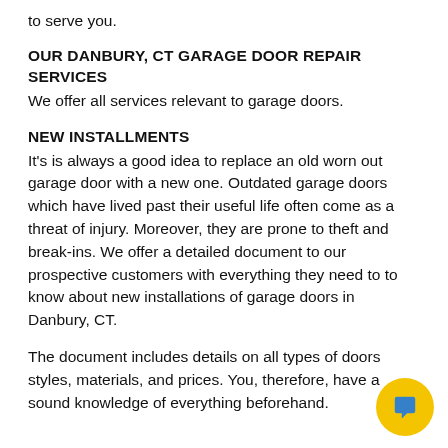to serve you.
OUR DANBURY, CT GARAGE DOOR REPAIR SERVICES
We offer all services relevant to garage doors.
NEW INSTALLMENTS
It's is always a good idea to replace an old worn out garage door with a new one. Outdated garage doors which have lived past their useful life often come as a threat of injury. Moreover, they are prone to theft and break-ins. We offer a detailed document to our prospective customers with everything they need to to know about new installations of garage doors in Danbury, CT.
The document includes details on all types of doors styles, materials, and prices. You, therefore, have a sound knowledge of everything beforehand.